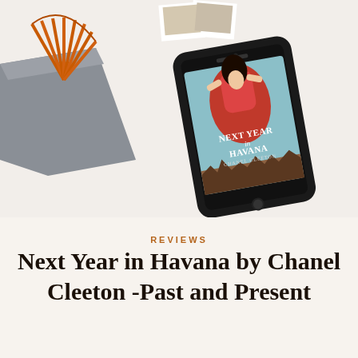[Figure (photo): A smartphone lying on a white surface displaying the book cover of 'Next Year in Havana' by Chanel Cleeton. The background shows orange paper fans and a grey felt item in the upper left corner.]
REVIEWS
Next Year in Havana by Chanel Cleeton -Past and Present